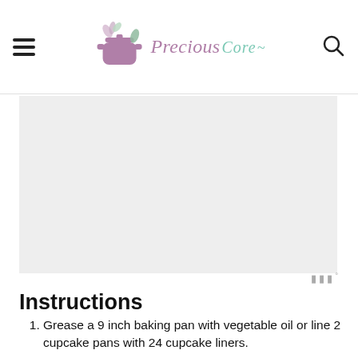Precious Core
[Figure (other): Advertisement or image placeholder area with gray background]
Instructions
Grease a 9 inch baking pan with vegetable oil or line 2 cupcake pans with 24 cupcake liners.
Pre-heat oven to 350 Degrees Fahrenheit or 176 Degrees Celsius.
Mix together flour, baking powder, baking soda, sugar, salt and cinnamon (or nutmeg) powder in a bowl.